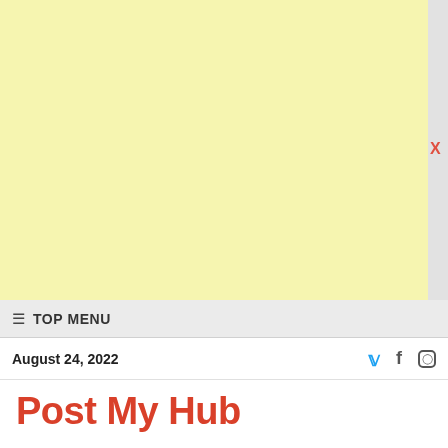[Figure (other): Yellow/cream colored advertisement banner placeholder at the top of the page]
≡ TOP MENU
August 24, 2022
Post My Hub